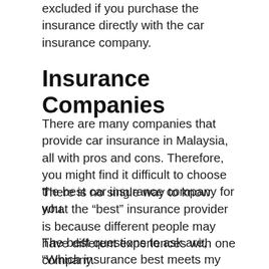excluded if you purchase the insurance directly with the car insurance company.
Insurance Companies
There are many companies that provide car insurance in Malaysia, all with pros and cons. Therefore, you might find it difficult to choose the best car insurance company for you.
There is no single way to know what the “best” insurance provider is because different people may have different experiences with one company.
The best questions to ask are, “Which insurance best meets my needs?” or “Which insurance company can offer me the right policy given my budget?”. These are the things you need to